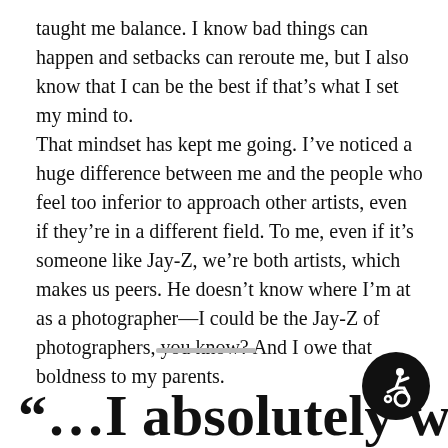taught me balance. I know bad things can happen and setbacks can reroute me, but I also know that I can be the best if that's what I set my mind to.
That mindset has kept me going. I've noticed a huge difference between me and the people who feel too inferior to approach other artists, even if they're in a different field. To me, even if it's someone like Jay-Z, we're both artists, which makes us peers. He doesn't know where I'm at as a photographer—I could be the Jay-Z of photographers, you know? And I owe that boldness to my parents.
“…I absolutely want